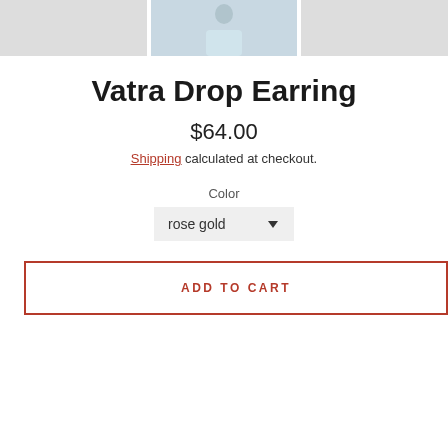[Figure (photo): Three product/model photos in a row at the top of the page showing earring product]
Vatra Drop Earring
$64.00
Shipping calculated at checkout.
Color
rose gold
ADD TO CART